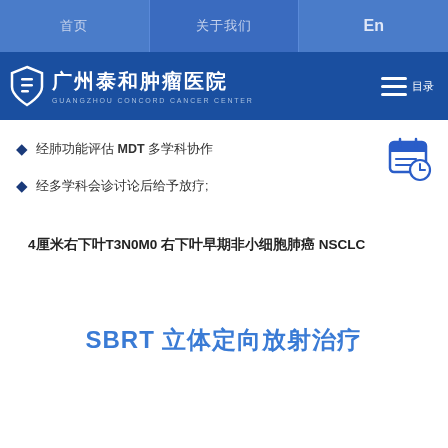首页 | 关于我们 | En
广州泰和肿瘤医院 GUANGZHOU CONCORD CANCER CENTER
◆ 经肺功能评估 MDT 多学科协作
◆ 经多学科会诊讨论后给予放疗;
4厘米右下叶T3N0M0 右下叶早期非小细胞肺癌 NSCLC
SBRT 立体定向放射治疗